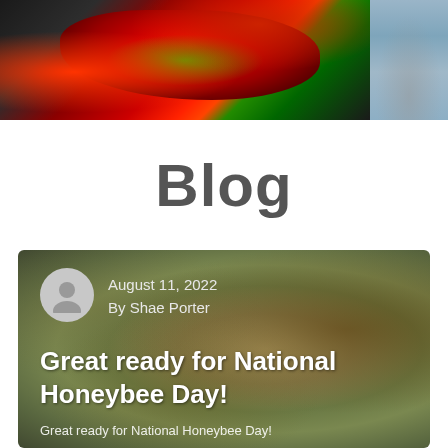[Figure (photo): Red poinsettia flower close-up on dark background (left), and a blurred grey outdoor scene (right)]
Blog
[Figure (photo): Close-up photo of honeybees in flight and on a surface, blurred natural background]
August 11, 2022
By Shae Porter
Great ready for National Honeybee Day!
Great ready for National Honeybee Day!